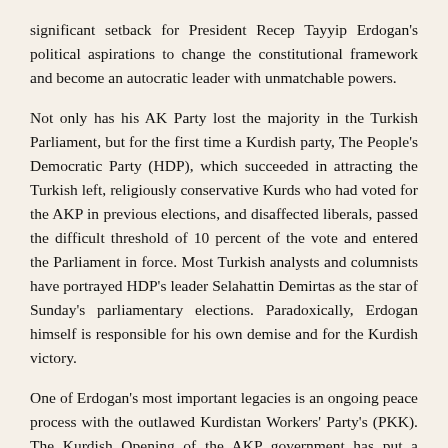significant setback for President Recep Tayyip Erdogan's political aspirations to change the constitutional framework and become an autocratic leader with unmatchable powers.
Not only has his AK Party lost the majority in the Turkish Parliament, but for the first time a Kurdish party, The People's Democratic Party (HDP), which succeeded in attracting the Turkish left, religiously conservative Kurds who had voted for the AKP in previous elections, and disaffected liberals, passed the difficult threshold of 10 percent of the vote and entered the Parliament in force. Most Turkish analysts and columnists have portrayed HDP's leader Selahattin Demirtas as the star of Sunday's parliamentary elections. Paradoxically, Erdogan himself is responsible for his own demise and for the Kurdish victory.
One of Erdogan's most important legacies is an ongoing peace process with the outlawed Kurdistan Workers' Party's (PKK). The Kurdish Opening of the AKP government has put a temporary halt to a thirty year insurgency that has cost over